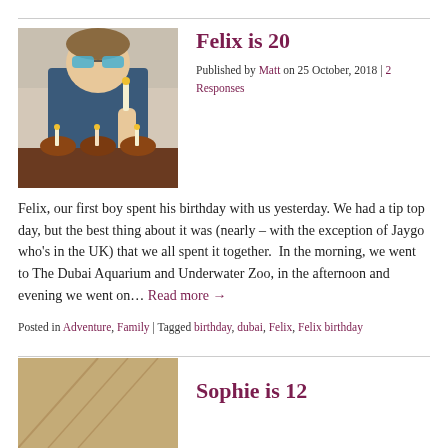[Figure (photo): Young man with sunglasses holding birthday candles near cupcakes]
Felix is 20
Published by Matt on 25 October, 2018 | 2 Responses
Felix, our first boy spent his birthday with us yesterday. We had a tip top day, but the best thing about it was (nearly – with the exception of Jaygo who's in the UK) that we all spent it together.  In the morning, we went to The Dubai Aquarium and Underwater Zoo, in the afternoon and evening we went on… Read more →
Posted in Adventure, Family | Tagged birthday, dubai, Felix, Felix birthday
[Figure (photo): Partial image at bottom of page, tan/brown surface]
Sophie is 12